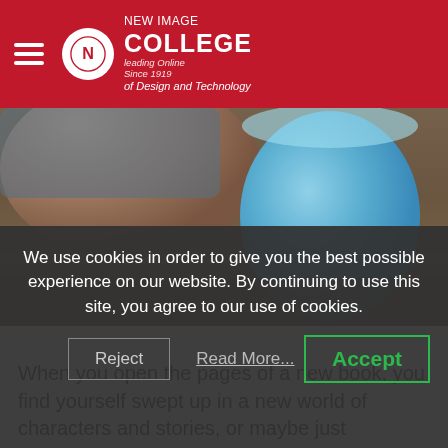New Image College of Design and Technology
[Figure (photo): Close-up photo of a hand holding a blue mug on a wooden table]
When you open the pages of a new book, you find yourself swept up in a new world of characters and stories, or maybe just information. The best books, even instructionals, guide you through a storyscape that builds up and shares the vision of the author. Read A New Book Month is your opportunity to pick up that novel you've been meaning to finish, that DIY...
We use cookies in order to give you the best possible experience on our website. By continuing to use this site, you agree to our use of cookies.
Reject
Read More...
Accept